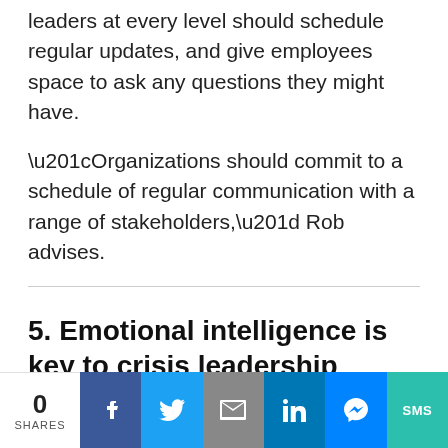leaders at every level should schedule regular updates, and give employees space to ask any questions they might have.
“Organizations should commit to a schedule of regular communication with a range of stakeholders,” Rob advises.
5. Emotional intelligence is key to crisis leadership
Leaders with high levels of emotional intelligence are more likely to fare well during a crisis. The ability to empathize
0 SHARES  [Facebook] [Twitter] [Email] [LinkedIn] [Messenger] [SMS]